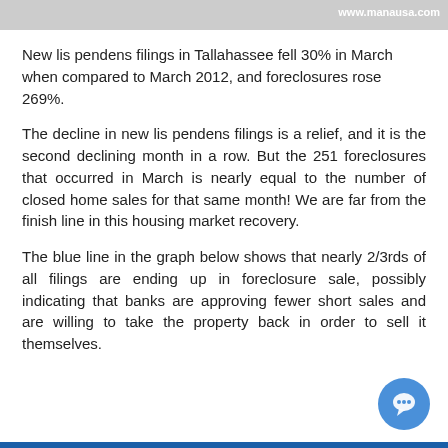www.manausa.com
New lis pendens filings in Tallahassee fell 30% in March when compared to March 2012, and foreclosures rose 269%.
The decline in new lis pendens filings is a relief, and it is the second declining month in a row. But the 251 foreclosures that occurred in March is nearly equal to the number of closed home sales for that same month! We are far from the finish line in this housing market recovery.
The blue line in the graph below shows that nearly 2/3rds of all filings are ending up in foreclosure sale, possibly indicating that banks are approving fewer short sales and are willing to take the property back in order to sell it themselves.